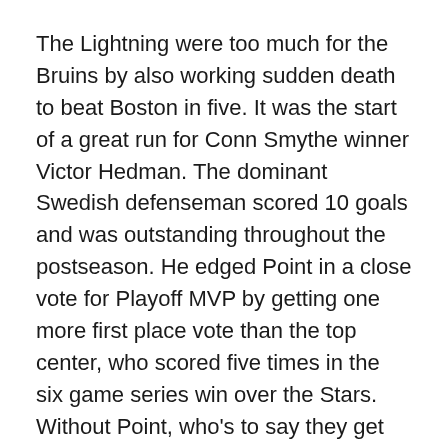The Lightning were too much for the Bruins by also working sudden death to beat Boston in five. It was the start of a great run for Conn Smythe winner Victor Hedman. The dominant Swedish defenseman scored 10 goals and was outstanding throughout the postseason. He edged Point in a close vote for Playoff MVP by getting one more first place vote than the top center, who scored five times in the six game series win over the Stars. Without Point, who's to say they get past the scrappy Islanders? Their only two wins came when he didn't play. In that Eastern Conference Final, Anthony Cirelli won the series in sudden death.
With clutch performances up and down the lineup that featured Hedman, Point, Nikita Kucherov and Ondrej Palat, the Lightning were too much for the Stars, who did a good job in getting the Stanley Cup Final to Game Six.